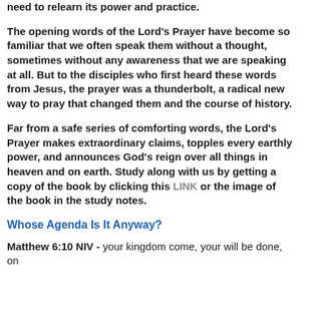need to relearn its power and practice.
The opening words of the Lord's Prayer have become so familiar that we often speak them without a thought, sometimes without any awareness that we are speaking at all. But to the disciples who first heard these words from Jesus, the prayer was a thunderbolt, a radical new way to pray that changed them and the course of history.
Far from a safe series of comforting words, the Lord's Prayer makes extraordinary claims, topples every earthly power, and announces God's reign over all things in heaven and on earth. Study along with us by getting a copy of the book by clicking this LINK or the image of the book in the study notes.
Whose Agenda Is It Anyway?
Matthew 6:10 NIV - your kingdom come, your will be done, on